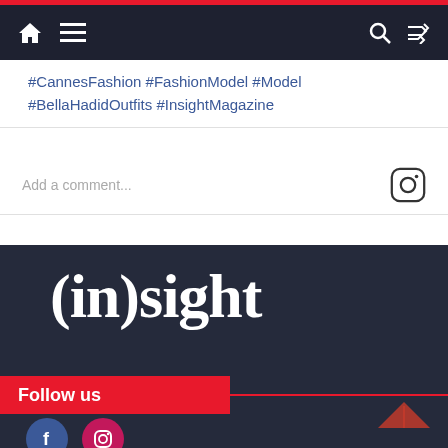Navigation bar with home, menu, search, and shuffle icons
#CannesFashion #FashionModel #Model #BellaHadidOutfits #InsightMagazine
Add a comment...
[Figure (logo): (in)sight magazine logo in white serif font on dark background]
Follow us
[Figure (illustration): Facebook and Instagram social media circular icons]